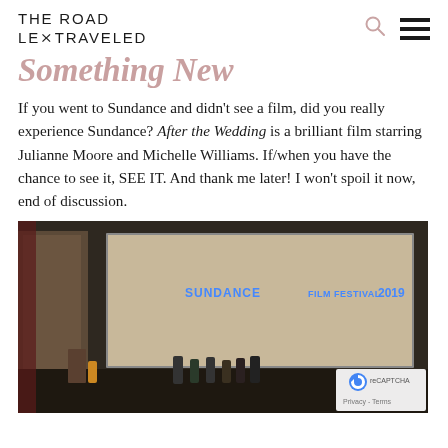THE ROAD LESS TRAVELED
Something New
If you went to Sundance and didn't see a film, did you really experience Sundance? After the Wedding is a brilliant film starring Julianne Moore and Michelle Williams. If/when you have the chance to see it, SEE IT. And thank me later! I won't spoil it now, end of discussion.
[Figure (photo): Photo of a theater stage at Sundance Film Festival 2019. A large screen displays 'SUNDANCE FILM FESTIVAL 2019' in blue text on a beige background. Several people stand on the stage. A reCAPTCHA badge is visible in the lower right corner with 'Privacy - Terms' text.]